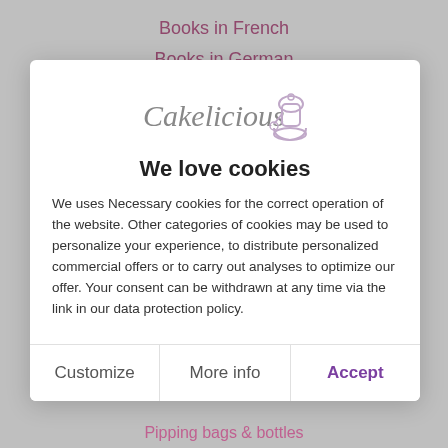Books in French
Books in German
Chocolate Eclairs
[Figure (logo): Cakelicious logo with stand mixer icon]
We love cookies
We uses Necessary cookies for the correct operation of the website. Other categories of cookies may be used to personalize your experience, to distribute personalized commercial offers or to carry out analyses to optimize our offer. Your consent can be withdrawn at any time via the link in our data protection policy.
Customize | More info | Accept
Pipping bags & bottles